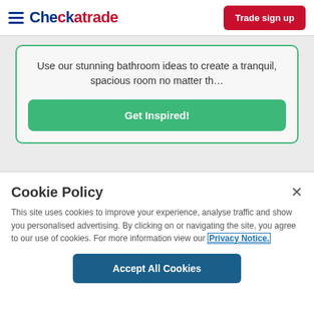Checkatrade | Trade sign up
Use our stunning bathroom ideas to create a tranquil, spacious room no matter th…
Get Inspired!
Cookie Policy
This site uses cookies to improve your experience, analyse traffic and show you personalised advertising. By clicking on or navigating the site, you agree to our use of cookies. For more information view our Privacy Notice.
Accept All Cookies